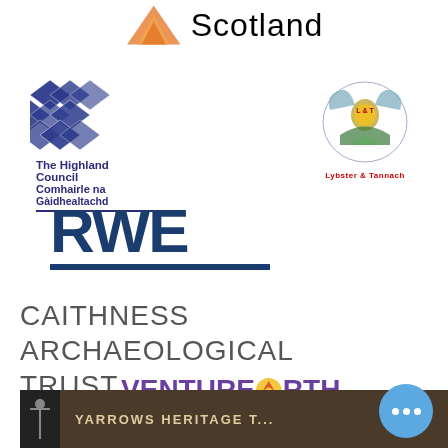[Figure (logo): Scotland logo with orange geometric mountain/arrow triangle and the word Scotland]
[Figure (logo): The Highland Council / Comhairle na Gàidhealtachd logo with blue diamond geometric pattern and bilingual text]
[Figure (logo): Lybster & Tannach community logo with bird/wing symbol]
[Figure (logo): RWE logo in dark navy blue bold text with underline bar]
CAITHNESS ARCHAEOLOGICAL TRUST
[Figure (logo): VentureNorth logo - Tourist Information for Caithness & Sutherland, purple text with compass/arrow N]
[Figure (screenshot): Yarrows Heritage Trust banner at bottom of page with dark background and text YARROWS HERITAGE T...]
[Figure (other): Blue circular three-dot menu button]